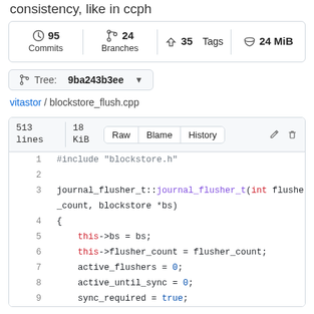consistency, like in ccph
95 Commits  24 Branches  35 Tags  24 MiB
Tree: 9ba243b3ee
vitastor / blockstore_flush.cpp
513 lines  18 KiB  Raw  Blame  History
1  #include "blockstore.h"
2
3  journal_flusher_t::journal_flusher_t(int flusher_count, blockstore *bs)
4  {
5      this->bs = bs;
6      this->flusher_count = flusher_count;
7      active_flushers = 0;
8      active_until_sync = 0;
9      sync_required = true;